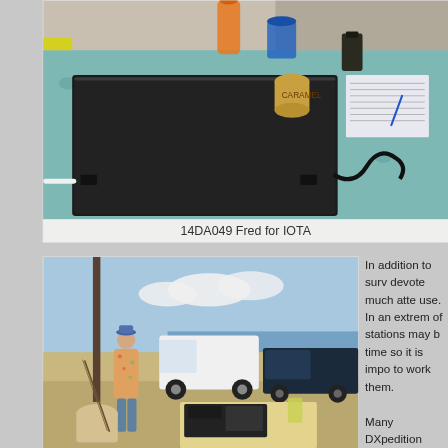[Figure (photo): Outdoor amateur radio setup on a table with a blue floral tablecloth. A large black transceiver unit is on the table, a person's hand is visible reaching across, with a notepad, a can of Caramel, jars, and other items on the table. Sandy/gravel background.]
14DA049 Fred for IOTA
[Figure (photo): Outdoor portable amateur radio station near a waterfront. A man in a floral shirt stands near radio equipment, a white van and a dark pickup truck are parked in the background. Another operator is seated in the foreground working the radio.]
In addition to surv devote much atte use. In an extrem of stations may b time so it is impo to work them. Many DXpedition gain antennas in worldwide and ke that occur. This v